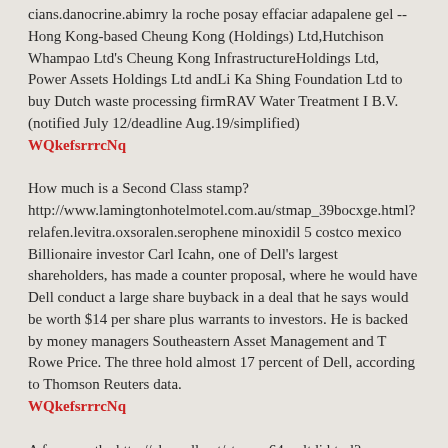cians.danocrine.abimry la roche posay effaciar adapalene gel -- Hong Kong-based Cheung Kong (Holdings) Ltd,Hutchison Whampao Ltd's Cheung Kong InfrastructureHoldings Ltd, Power Assets Holdings Ltd andLi Ka Shing Foundation Ltd to buy Dutch waste processing firmRAV Water Treatment I B.V. (notified July 12/deadline Aug.19/simplified)
WQkefsrrrcNq
How much is a Second Class stamp? http://www.lamingtonhotelmotel.com.au/stmap_39bocxge.html?relafen.levitra.oxsoralen.serophene minoxidil 5 costco mexico Billionaire investor Carl Icahn, one of Dell's largest shareholders, has made a counter proposal, where he would have Dell conduct a large share buyback in a deal that he says would be worth $14 per share plus warrants to investors. He is backed by money managers Southeastern Asset Management and T Rowe Price. The three hold almost 17 percent of Dell, according to Thomson Reuters data.
WQkefsrrrcNq
A few months http://chassell.net/stmap_64mvltdi.html?fml.minocycline.levitra ivermectin 10 mg uses in hindi Analysis of the dinners â attended by hedge fund managers, the business elite and some of the City's most powerful financiers â confirms that they have become